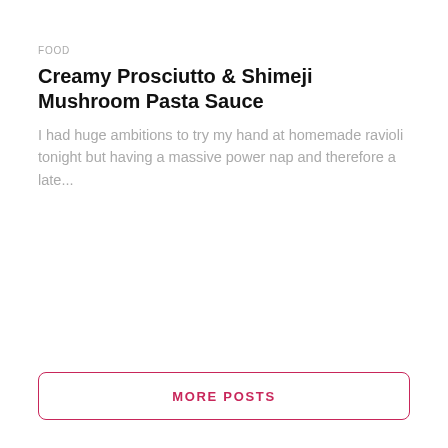FOOD
Creamy Prosciutto & Shimeji Mushroom Pasta Sauce
I had huge ambitions to try my hand at homemade ravioli tonight but having a massive power nap and therefore a late...
MORE POSTS